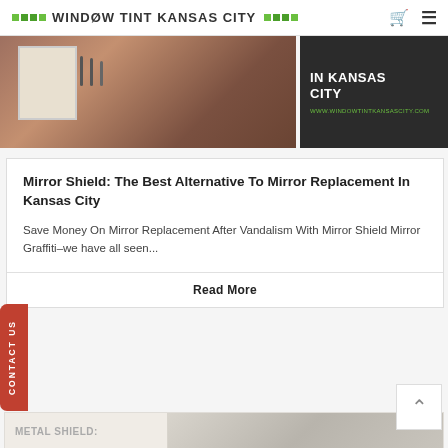WINDOW TINT KANSAS CITY
[Figure (photo): Photo of a bathroom mirror installation scene with a dark overlay panel on the right showing text 'IN KANSAS CITY' and the website www.windowtintkansascity.com]
Mirror Shield: The Best Alternative To Mirror Replacement In Kansas City
Save Money On Mirror Replacement After Vandalism With Mirror Shield Mirror Graffiti–we have all seen...
Read More
[Figure (photo): Partial bottom teaser image showing 'METAL SHIELD:' text on the left and a metallic/glass photo on the right]